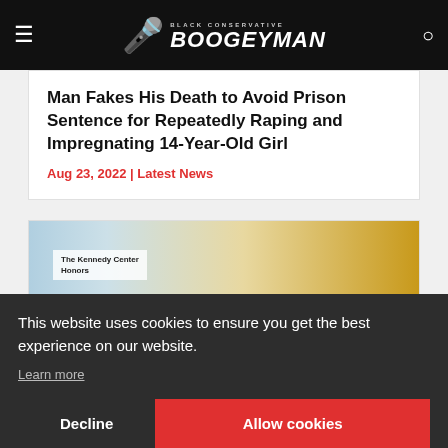Black Conservative Boogeyman
Man Fakes His Death to Avoid Prison Sentence for Repeatedly Raping and Impregnating 14-Year-Old Girl
Aug 23, 2022 | Latest News
[Figure (photo): Partial photo showing The Kennedy Center Honors event with a person visible]
This website uses cookies to ensure you get the best experience on our website.
Learn more
Decline
Allow cookies